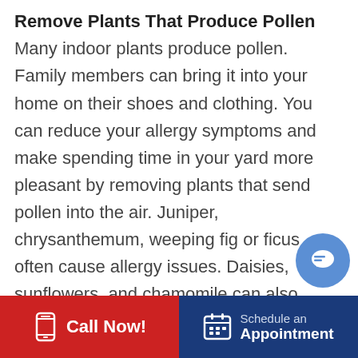Remove Plants That Produce Pollen
Many indoor plants produce pollen. Family members can bring it into your home on their shoes and clothing. You can reduce your allergy symptoms and make spending time in your yard more pleasant by removing plants that send pollen into the air. Juniper, chrysanthemum, weeping fig or ficus often cause allergy issues. Daisies, sunflowers, and chamomile can also aggravate allergy symptoms. Trees and grasses often produce lots of pollen as well. When possible, replace pecan, pine, and cedar trees with dogwoods and magnolias. You can have artificial turf installed instead of grass.
Call Now! | Schedule an Appointment